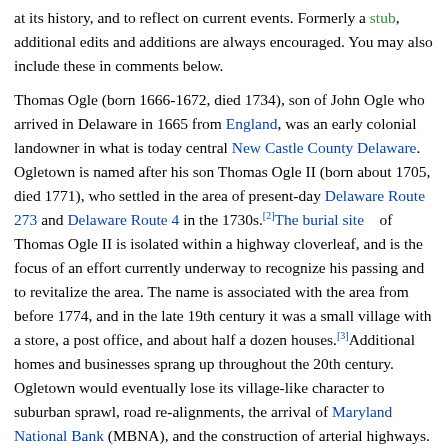at its history, and to reflect on current events. Formerly a stub, additional edits and additions are always encouraged. You may also include these in comments below.
Thomas Ogle (born 1666-1672, died 1734), son of John Ogle who arrived in Delaware in 1665 from England, was an early colonial landowner in what is today central New Castle County Delaware. Ogletown is named after his son Thomas Ogle II (born about 1705, died 1771), who settled in the area of present-day Delaware Route 273 and Delaware Route 4 in the 1730s.[2]The burial site of Thomas Ogle II is isolated within a highway cloverleaf, and is the focus of an effort currently underway to recognize his passing and to revitalize the area. The name is associated with the area from before 1774, and in the late 19th century it was a small village with a store, a post office, and about half a dozen houses.[3]Additional homes and businesses sprang up throughout the 20th century. Ogletown would eventually lose its village-like character to suburban sprawl, road realignments, the arrival of Maryland National Bank (MBNA), and the construction of arterial highways.
Ogletown prospered during the 17th century because of a location along one of the major transpeninsular roads laid out in